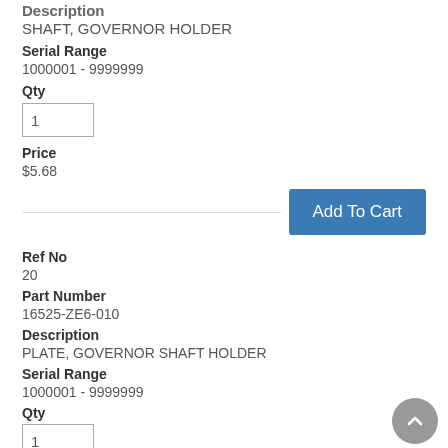Description
SHAFT, GOVERNOR HOLDER
Serial Range
1000001 - 9999999
Qty
1
Price
$5.68
Ref No
20
Part Number
16525-ZE6-010
Description
PLATE, GOVERNOR SHAFT HOLDER
Serial Range
1000001 - 9999999
Qty
1